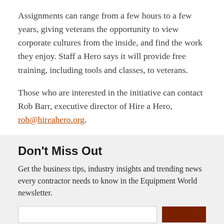Assignments can range from a few hours to a few years, giving veterans the opportunity to view corporate cultures from the inside, and find the work they enjoy. Staff a Hero says it will provide free training, including tools and classes, to veterans.
Those who are interested in the initiative can contact Rob Barr, executive director of Hire a Hero, rob@hireahero.org.
Don't Miss Out
Get the business tips, industry insights and trending news every contractor needs to know in the Equipment World newsletter.